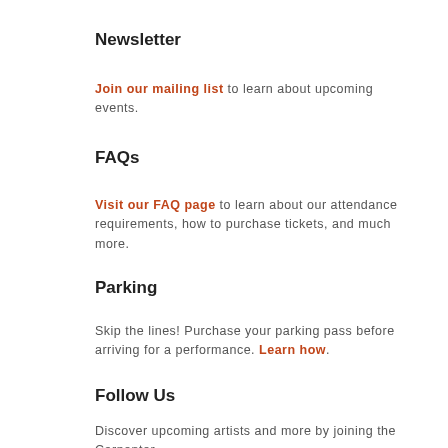Newsletter
Join our mailing list to learn about upcoming events.
FAQs
Visit our FAQ page to learn about our attendance requirements, how to purchase tickets, and much more.
Parking
Skip the lines! Purchase your parking pass before arriving for a performance. Learn how.
Follow Us
Discover upcoming artists and more by joining the Carpenter